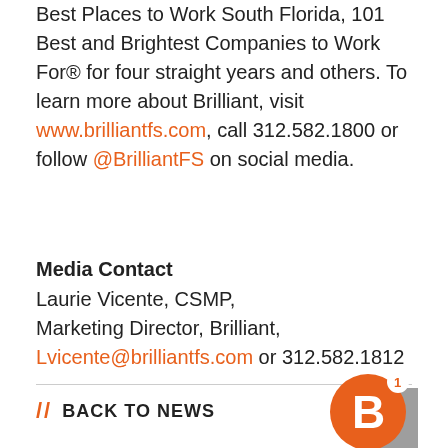Best Places to Work South Florida, 101 Best and Brightest Companies to Work For® for four straight years and others. To learn more about Brilliant, visit www.brilliantfs.com, call 312.582.1800 or follow @BrilliantFS on social media.
Media Contact
Laurie Vicente, CSMP,
Marketing Director, Brilliant,
Lvicente@brilliantfs.com or 312.582.1812
// BACK TO NEWS
[Figure (logo): Brilliant Financial Staffing logo — orange circle with white letter B and superscript 1, partially overlapping a gray square]